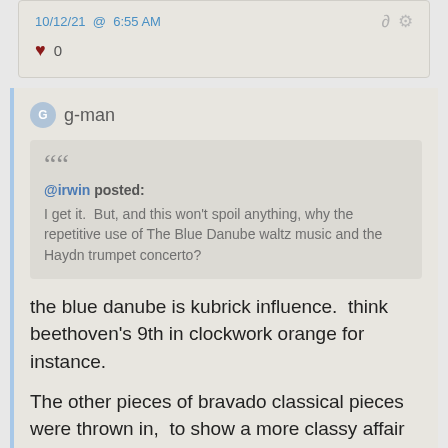10/12/21 @ 6:55 AM
♥ 0
g-man
@irwin posted: I get it. But, and this won't spoil anything, why the repetitive use of The Blue Danube waltz music and the Haydn trumpet concerto?
the blue danube is kubrick influence. think beethoven's 9th in clockwork orange for instance.
The other pieces of bravado classical pieces were thrown in, to show a more classy affair vs say K